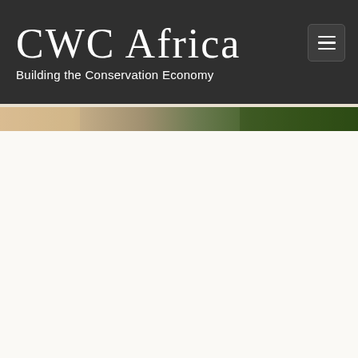CWC Africa — Building the Conservation Economy
[Figure (photo): Aerial/landscape strip image showing a gradient from sandy/savanna terrain on the left to dense green vegetation/forest on the right]
[Figure (other): White content area below the image strip, largely empty]